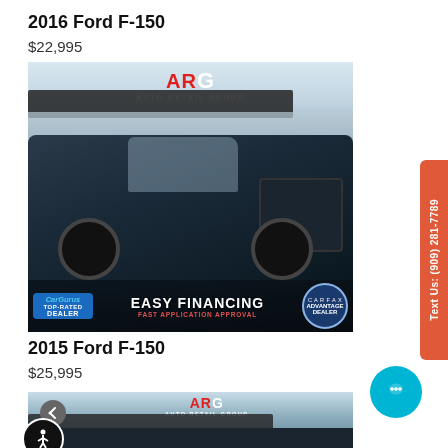2016 Ford F-150
$22,995
[Figure (photo): 2016 Ford F-150 dark blue truck parked at Auto Retail Group dealership, with CarGurus Top-Rated Dealer badge, Easy Financing Fast Application Approval banner, and CARFAX Advantage Dealer badge]
2015 Ford F-150
$25,995
[Figure (photo): Partial view of 2015 Ford F-150 truck at Auto Retail Group dealership]